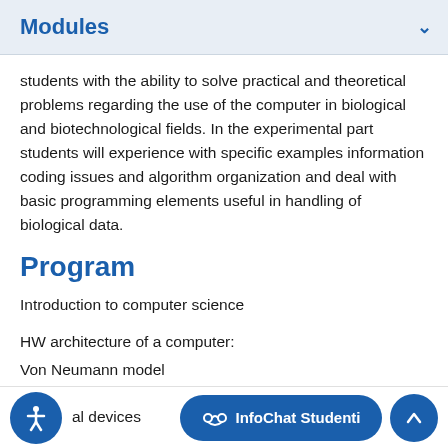Modules
students with the ability to solve practical and theoretical problems regarding the use of the computer in biological and biotechnological fields. In the experimental part students will experience with specific examples information coding issues and algorithm organization and deal with basic programming elements useful in handling of biological data.
Program
Introduction to computer science
HW architecture of a computer:
Von Neumann model
CPU
Memory
al devices